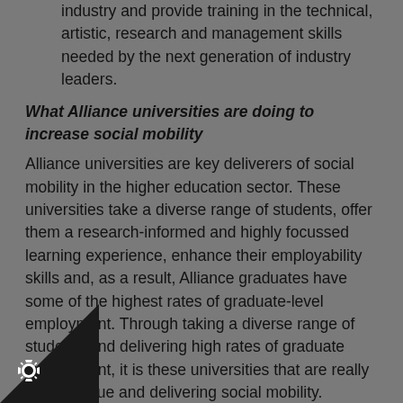industry and provide training in the technical, artistic, research and management skills needed by the next generation of industry leaders.
What Alliance universities are doing to increase social mobility
Alliance universities are key deliverers of social mobility in the higher education sector. These universities take a diverse range of students, offer them a research-informed and highly focussed learning experience, enhance their employability skills and, as a result, Alliance graduates have some of the highest rates of graduate-level employment. Through taking a diverse range of students and delivering high rates of graduate employment, it is these universities that are really adding value and delivering social mobility.
We know the UK has the lowest rate of social mobility across the major OECD countries, except for the US.
We know that there continues to be a stubborn correlation between social class and attainment at 16 and 18.